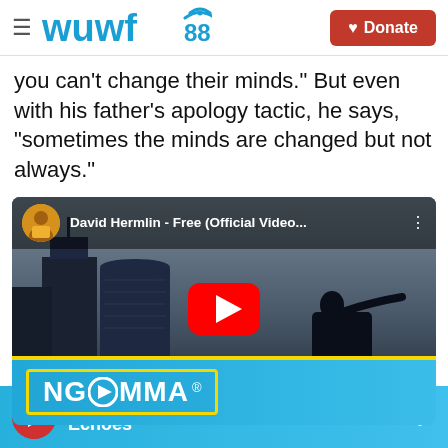WUWF 88.1 — Donate
you can't change their minds." But even with his father's apology tactic, he says, "sometimes the minds are changed but not always."
[Figure (screenshot): YouTube video embed showing David Hermlin - Free (Official Video...) with NGOMMA branding banner at bottom, dark cityscape background with silhouette of person, red YouTube play button in center]
WUWF Echoes — audio player bar